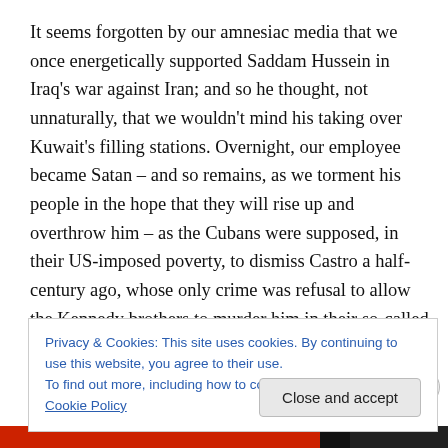It seems forgotten by our amnesiac media that we once energetically supported Saddam Hussein in Iraq's war against Iran; and so he thought, not unnaturally, that we wouldn't mind his taking over Kuwait's filling stations. Overnight, our employee became Satan – and so remains, as we torment his people in the hope that they will rise up and overthrow him – as the Cubans were supposed, in their US-imposed poverty, to dismiss Castro a half-century ago, whose only crime was refusal to allow the Kennedy brothers to murder him in their so-called Operation
Privacy & Cookies: This site uses cookies. By continuing to use this website, you agree to their use.
To find out more, including how to control cookies, see here: Cookie Policy